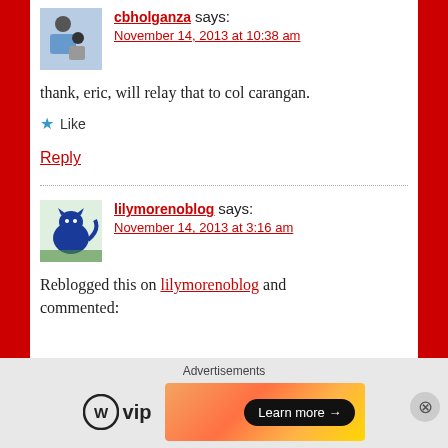cbholganza says:
November 14, 2013 at 10:38 am
thank, eric, will relay that to col carangan.
Like
Reply
lilymorenoblog says:
November 14, 2013 at 3:16 am
Reblogged this on lilymorenoblog and commented:
Advertisements
[Figure (logo): WordPress VIP logo with WP circle icon and 'vip' text]
[Figure (infographic): Advertisement banner with orange/coral gradient background and black Learn more button with arrow]